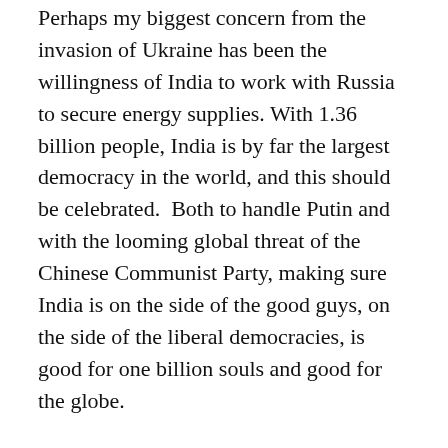Perhaps my biggest concern from the invasion of Ukraine has been the willingness of India to work with Russia to secure energy supplies. With 1.36 billion people, India is by far the largest democracy in the world, and this should be celebrated.  Both to handle Putin and with the looming global threat of the Chinese Communist Party, making sure India is on the side of the good guys, on the side of the liberal democracies, is good for one billion souls and good for the globe.
What are our next steps?  Some actions we already appear to be taking, we need to align states with NATO and other tenants of the western military alliance as ultimately security only comes through strong defence.  Winston